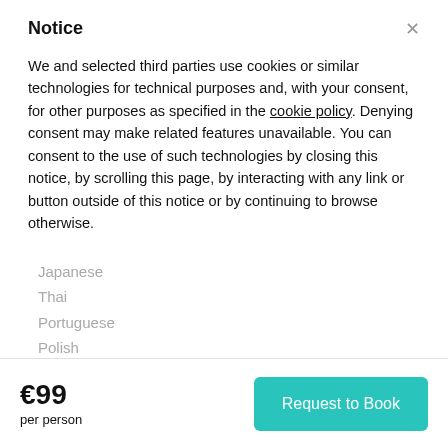Notice
We and selected third parties use cookies or similar technologies for technical purposes and, with your consent, for other purposes as specified in the cookie policy. Denying consent may make related features unavailable. You can consent to the use of such technologies by closing this notice, by scrolling this page, by interacting with any link or button outside of this notice or by continuing to browse otherwise.
Japanese
Thai
Portuguese
Polish
Danish
€99
per person
Request to Book